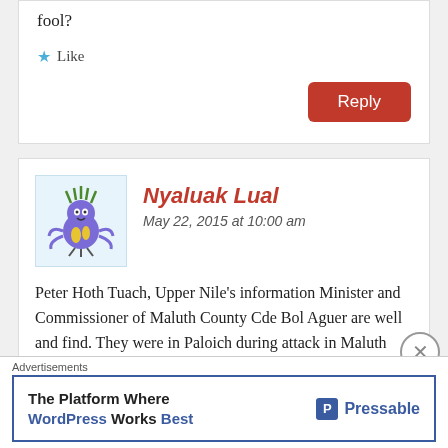fool?
★ Like
Reply
Nyaluak Lual
May 22, 2015 at 10:00 am
[Figure (illustration): Blue cartoon creature avatar for commenter Nyaluak Lual]
Peter Hoth Tuach, Upper Nile's information Minister and Commissioner of Maluth County Cde Bol Aguer are well and find. They were in Paloich during attack in Maluth and came to Maluth yesterday to damage the burning
Advertisements
The Platform Where WordPress Works Best    Pressable